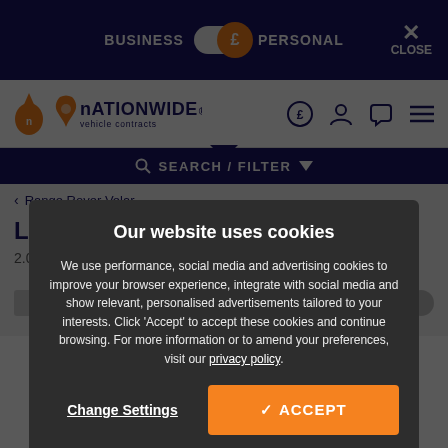BUSINESS £ PERSONAL CLOSE
[Figure (logo): Nationwide Vehicle Contracts logo with orange UK map icon]
SEARCH / FILTER
< Range Rover Velar
Land Rover Range Rover Velar
2.0 P400e R-D...
Our website uses cookies
We use performance, social media and advertising cookies to improve your browser experience, integrate with social media and show relevant, personalised advertisements tailored to your interests. Click 'Accept' to accept these cookies and continue browsing. For more information or to amend your preferences, visit our privacy policy.
Change Settings
✓ ACCEPT
£834.28